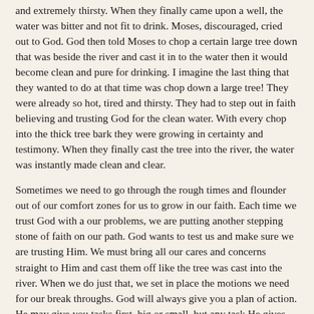and extremely thirsty. When they finally came upon a well, the water was bitter and not fit to drink. Moses, discouraged, cried out to God. God then told Moses to chop a certain large tree down that was beside the river and cast it in to the water then it would become clean and pure for drinking. I imagine the last thing that they wanted to do at that time was chop down a large tree! They were already so hot, tired and thirsty. They had to step out in faith believing and trusting God for the clean water. With every chop into the thick tree bark they were growing in certainty and testimony. When they finally cast the tree into the river, the water was instantly made clean and clear.
Sometimes we need to go through the rough times and flounder out of our comfort zones for us to grow in our faith. Each time we trust God with a our problems, we are putting another stepping stone of faith on our path. God wants to test us and make sure we are trusting Him. We must bring all our cares and concerns straight to Him and cast them off like the tree was cast into the river. When we do just that, we set in place the motions we need for our break throughs. God will always give you a plan of action. He may give you tasks first, big or small, but any task He gives will serve a mighty purpose on our road to peace, faith, security, health and prosperity. Just pray you won't have to build an ark!☺